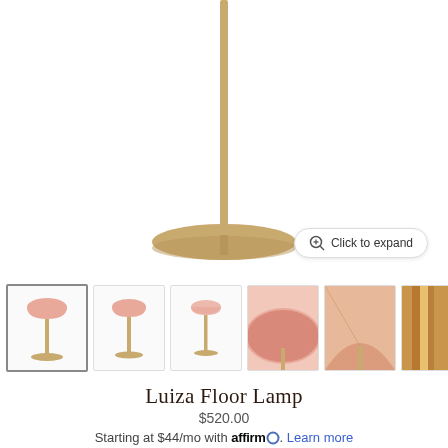[Figure (photo): Main product image showing the base and stem of the Luiza Floor Lamp in brass/gold finish against white background, with a 'Click to expand' button overlay]
[Figure (photo): Row of thumbnail images showing the Luiza Floor Lamp from multiple angles: full lamp pink shade with brass stem (active/selected), side view, front view, close-up of pink dome shade, close-up of shade underside, partial view of brass stem. Navigation arrow on right.]
Luiza Floor Lamp
$520.00
Starting at $44/mo with affirm. Learn more